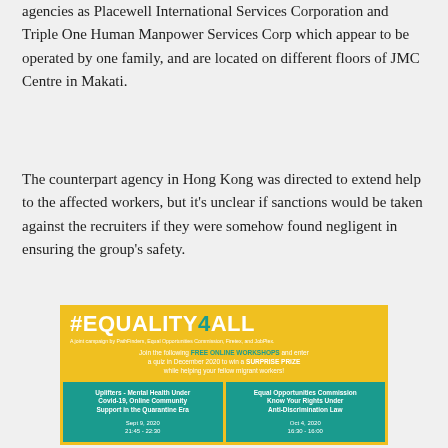agencies as Placewell International Services Corporation and Triple One Human Manpower Services Corp which appear to be operated by one family, and are located on different floors of JMC Centre in Makati.
The counterpart agency in Hong Kong was directed to extend help to the affected workers, but it's unclear if sanctions would be taken against the recruiters if they were somehow found negligent in ensuring the group's safety.
[Figure (infographic): #EQUALITY4ALL campaign ad. Yellow background with teal and white text. Headline: #EQUALITY4ALL. Subtitle: A joint campaign by PathFinders, Equal Opportunities Commission, Firetex, and JobPlex. Join the following FREE ONLINE WORKSHOPS and enter a quiz in December 2020 to win a SURPRISE PRIZE while helping your fellow migrant workers! Two teal boxes: Left box - Uplifters - Mental Health Under Covid-19, Online Community Support in the Quarantine Era, Sept 9, 2020, 21:45 - 22:30. Right box - Equal Opportunities Commission Know Your Rights Under Anti-Discrimination Law, Oct 4, 2020, 16:30 - 16:00.]